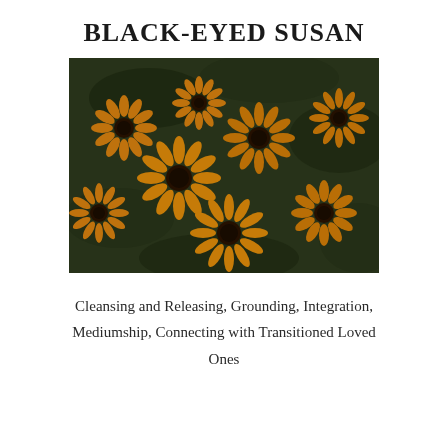BLACK-EYED SUSAN
[Figure (photo): A dense cluster of Black-Eyed Susan flowers (Rudbeckia) with bright yellow/orange petals and dark brown/black centers, set against dark green foliage.]
Cleansing and Releasing, Grounding, Integration, Mediumship, Connecting with Transitioned Loved Ones